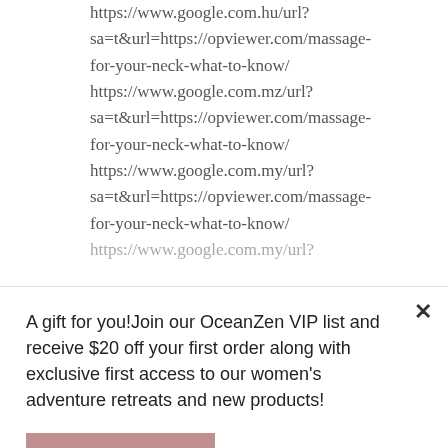https://www.google.com.hu/url?sa=t&url=https://opviewer.com/massage-for-your-neck-what-to-know/ https://www.google.com.mz/url?sa=t&url=https://opviewer.com/massage-for-your-neck-what-to-know/ https://www.google.com.my/url?sa=t&url=https://opviewer.com/massage-for-your-neck-what-to-know/ https://www.google.com.my/url?...
A gift for you!Join our OceanZen VIP list and receive $20 off your first order along with exclusive first access to our women's adventure retreats and new products!
Join the tribe
sa=t&url=https://opviewer.com/massage-for-your-neck-what-to-know/ https://www.google.com.my/url?...